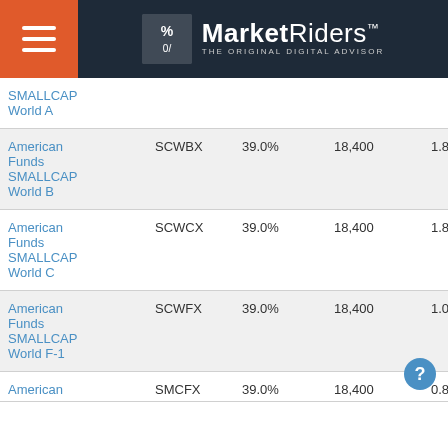MarketRiders THE ORIGINAL DIGITAL ADVISOR
| Fund Name | Ticker | Col3 | Col4 | Expense |
| --- | --- | --- | --- | --- |
| SMALLCAP World A |  |  |  |  |
| American Funds SMALLCAP World B | SCWBX | 39.0% | 18,400 | 1.86% |
| American Funds SMALLCAP World C | SCWCX | 39.0% | 18,400 | 1.86% |
| American Funds SMALLCAP World F-1 | SCWFX | 39.0% | 18,400 | 1.08% |
| American | SMCFX | 39.0% | 18,400 | 0.82% |